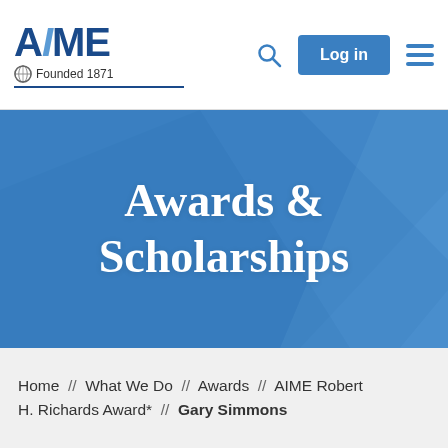[Figure (logo): AIME logo with globe icon and 'Founded 1871' text]
[Figure (screenshot): Search icon, Log in button, and hamburger menu in website header]
Awards & Scholarships
Home // What We Do // Awards // AIME Robert H. Richards Award* // Gary Simmons